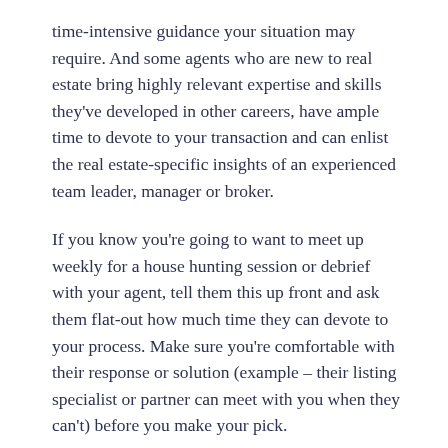time-intensive guidance your situation may require. And some agents who are new to real estate bring highly relevant expertise and skills they've developed in other careers, have ample time to devote to your transaction and can enlist the real estate-specific insights of an experienced team leader, manager or broker.
If you know you're going to want to meet up weekly for a house hunting session or debrief with your agent, tell them this up front and ask them flat-out how much time they can devote to your process. Make sure you're comfortable with their response or solution (example – their listing specialist or partner can meet with you when they can't) before you make your pick.
My advice for agent-finding is to engage in a multi-step process: